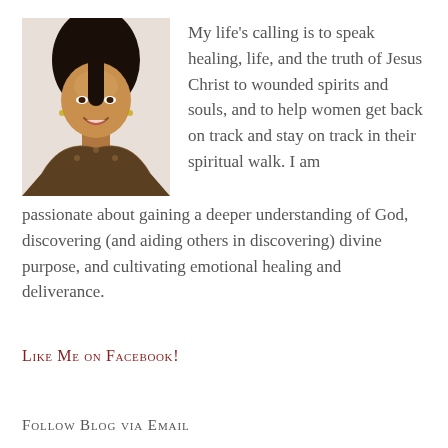[Figure (photo): Portrait photo of a smiling Black woman with long dark hair pulled back, wearing a patterned top]
My life's calling is to speak healing, life, and the truth of Jesus Christ to wounded spirits and souls, and to help women get back on track and stay on track in their spiritual walk. I am passionate about gaining a deeper understanding of God, discovering (and aiding others in discovering) divine purpose, and cultivating emotional healing and deliverance.
Like Me on Facebook!
Follow Blog via Email